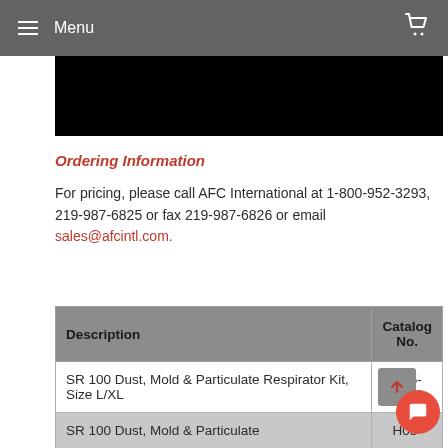Menu
[Figure (photo): Partial photo at top (mostly black/obscured) showing what appears to be a product or person image]
Ordering Information
For pricing, please call AFC International at 1-800-952-3293, 219-987-6825 or fax 219-987-6826 or email sales@afcintl.com.
| Description | Catalog No. |
| --- | --- |
| SR 100 Dust, Mold & Particulate Respirator Kit, Size L/XL | H05-6821L |
| SR 100 Dust, Mold & Particulate | H05- |